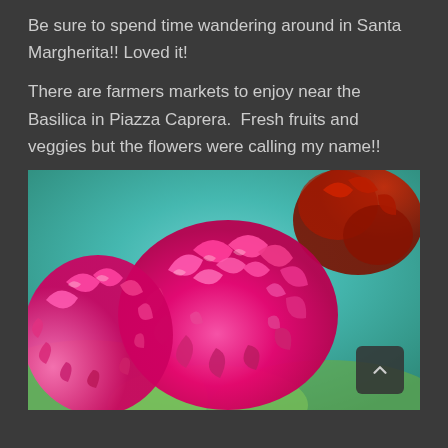Be sure to spend time wandering around in Santa Margherita!! Loved it!
There are farmers markets to enjoy near the Basilica in Piazza Caprera.  Fresh fruits and veggies but the flowers were calling my name!!
[Figure (photo): Close-up photo of bright pink ruffled celosia (cockscomb) flowers at a farmers market, with red flowers and a blurred teal/turquoise background. A small dark scroll-up button with a caret/chevron is visible in the lower-right corner of the image.]